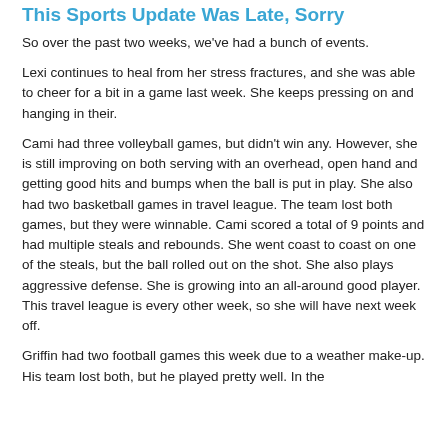This Sports Update Was Late, Sorry
So over the past two weeks, we've had a bunch of events.
Lexi continues to heal from her stress fractures, and she was able to cheer for a bit in a game last week. She keeps pressing on and hanging in their.
Cami had three volleyball games, but didn't win any. However, she is still improving on both serving with an overhead, open hand and getting good hits and bumps when the ball is put in play. She also had two basketball games in travel league. The team lost both games, but they were winnable. Cami scored a total of 9 points and had multiple steals and rebounds. She went coast to coast on one of the steals, but the ball rolled out on the shot. She also plays aggressive defense. She is growing into an all-around good player. This travel league is every other week, so she will have next week off.
Griffin had two football games this week due to a weather make-up. His team lost both, but he played pretty well. In the